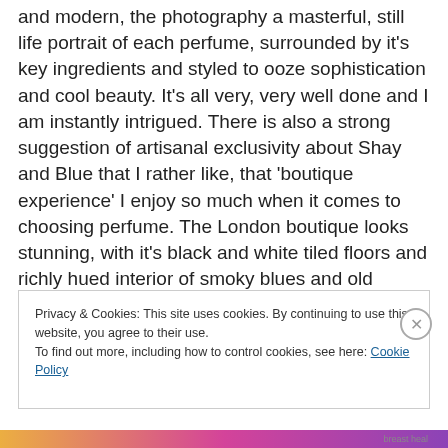and modern, the photography a masterful, still life portrait of each perfume, surrounded by it's key ingredients and styled to ooze sophistication and cool beauty. It's all very, very well done and I am instantly intrigued. There is also a strong suggestion of artisanal exclusivity about Shay and Blue that I rather like, that 'boutique experience' I enjoy so much when it comes to choosing perfume. The London boutique looks stunning, with it's black and white tiled floors and richly hued interior of smoky blues and old wood….
Privacy & Cookies: This site uses cookies. By continuing to use this website, you agree to their use.
To find out more, including how to control cookies, see here: Cookie Policy
Close and accept